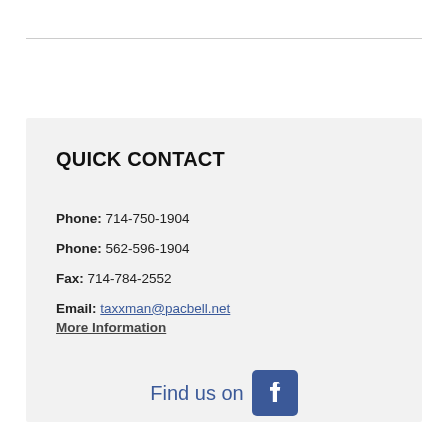QUICK CONTACT
Phone: 714-750-1904
Phone: 562-596-1904
Fax: 714-784-2552
Email: taxxman@pacbell.net
More Information
[Figure (logo): Find us on Facebook logo with Facebook 'f' icon in blue square]